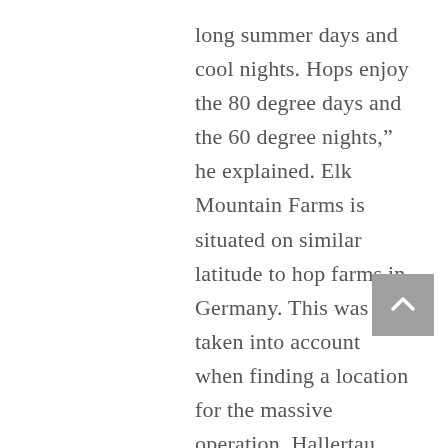long summer days and cool nights. Hops enjoy the 80 degree days and the 60 degree nights," he explained. Elk Mountain Farms is situated on similar latitude to hop farms in Germany. This was taken into account when finding a location for the massive operation. Hallertau and Saaz are some of the oldest hops known to man and do very well in Germany. These were the first varieties planted at Elk Mountain and were also very successful. During the early days of the farm, the hops were being utilized for Budweiser's flagship products Bud and Bud Light. As the craft beer movement began to swing back up again, it was Ed's job to bring in additional varieties to meet brewers' demand for new